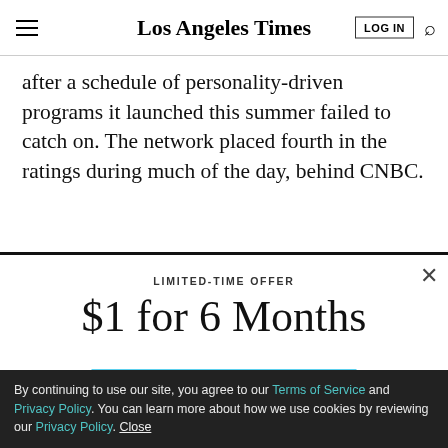Los Angeles Times
after a schedule of personality-driven programs it launched this summer failed to catch on. The network placed fourth in the ratings during much of the day, behind CNBC.
LIMITED-TIME OFFER
$1 for 6 Months
SUBSCRIBE NOW
By continuing to use our site, you agree to our Terms of Service and Privacy Policy. You can learn more about how we use cookies by reviewing our Privacy Policy. Close